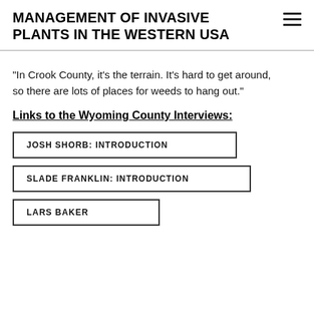MANAGEMENT OF INVASIVE PLANTS IN THE WESTERN USA
"In Crook County, it's the terrain. It's hard to get around, so there are lots of places for weeds to hang out."
Links to the Wyoming County Interviews:
JOSH SHORB: INTRODUCTION
SLADE FRANKLIN: INTRODUCTION
LARS BAKER